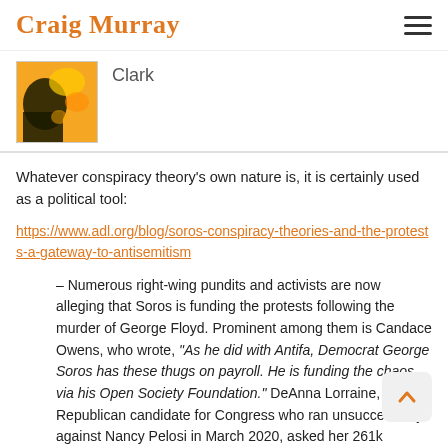Craig Murray
Clark
Whatever conspiracy theory's own nature is, it is certainly used as a political tool:
https://www.adl.org/blog/soros-conspiracy-theories-and-the-protests-a-gateway-to-antisemitism
– Numerous right-wing pundits and activists are now alleging that Soros is funding the protests following the murder of George Floyd. Prominent among them is Candace Owens, who wrote, "As he did with Antifa, Democrat George Soros has these thugs on payroll. He is funding the chaos via his Open Society Foundation." DeAnna Lorraine, the Republican candidate for Congress who ran unsuccessfully against Nancy Pelosi in March 2020, asked her 261k followers to